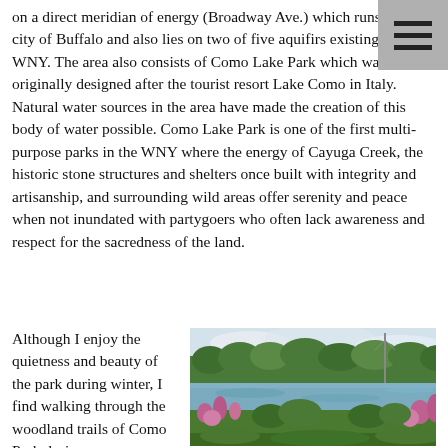on a direct meridian of energy (Broadway Ave.) which runs into the city of Buffalo and also lies on two of five aquifirs existing within WNY.  The area also consists of Como Lake Park which was originally designed after  the tourist resort Lake Como in Italy.   Natural water sources in the area have made the creation of this body of water possible.  Como Lake Park is one of the first multi-purpose parks in the WNY where the energy of Cayuga Creek, the historic stone structures and shelters once built with integrity and artisanship, and surrounding wild areas offer serenity and peace when not inundated with partygoers who often lack awareness and respect for the sacredness of the land.
Although I enjoy the quietness and beauty of the park during winter, I find walking through the woodland trails of Como Park during
[Figure (photo): A photograph of Como Lake Park showing a calm water body surrounded by lush green trees and shrubs, with pink wildflowers (fireweed) in the foreground and an overcast sky above.]